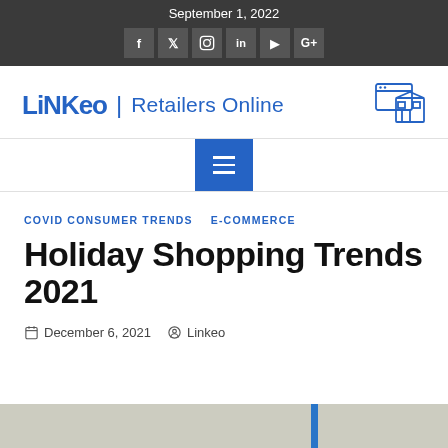September 1, 2022
[Figure (logo): Linkeo | Retailers Online logo with store icon]
[Figure (screenshot): Navigation hamburger menu button (blue)]
COVID CONSUMER TRENDS   E-COMMERCE
Holiday Shopping Trends 2021
December 6, 2021   Linkeo
[Figure (photo): Bottom partial image strip, light background]